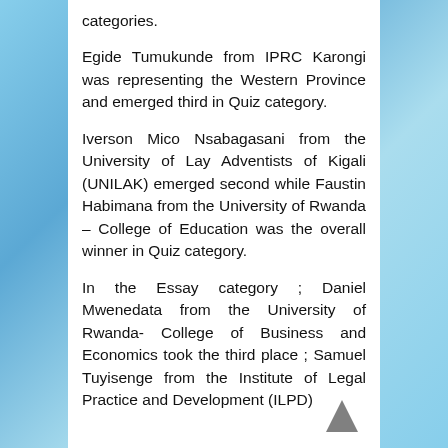categories.
Egide Tumukunde from IPRC Karongi was representing the Western Province and emerged third in Quiz category.
Iverson Mico Nsabagasani from the University of Lay Adventists of Kigali (UNILAK) emerged second while Faustin Habimana from the University of Rwanda – College of Education was the overall winner in Quiz category.
In the Essay category ; Daniel Mwenedata from the University of Rwanda- College of Business and Economics took the third place ; Samuel Tuyisenge from the Institute of Legal Practice and Development (ILPD)